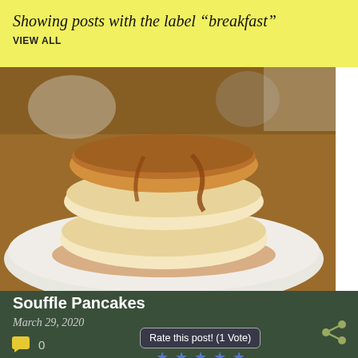Showing posts with the label “breakfast”
VIEW ALL
[Figure (photo): Stack of thick fluffy souffle pancakes with syrup on a white plate, photographed from close up on a wooden table]
Souffle Pancakes
March 29, 2020
0
Rate this post! (1 Vote)